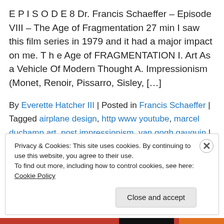E P I S O D E 8 Dr. Francis Schaeffer – Episode VIII – The Age of Fragmentation 27 min I saw this film series in 1979 and it had a major impact on me. T h e Age of FRAGMENTATION I. Art As a Vehicle Of Modern Thought A. Impressionism (Monet, Renoir, Pissarro, Sisley, […]
By Everette Hatcher III | Posted in Francis Schaeffer | Tagged airplane design, http www youtube, marcel duchamp art, post impressionism, van gogh gauguin | Edit |Comments (0)
Privacy & Cookies: This site uses cookies. By continuing to use this website, you agree to their use. To find out more, including how to control cookies, see here: Cookie Policy